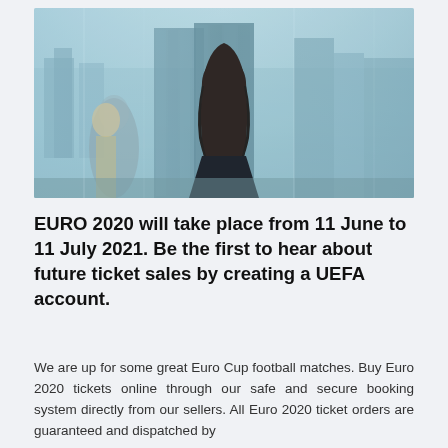[Figure (photo): A person with long dark hair seen from behind, standing in a crowd in an urban setting. The background shows blurred city buildings and people, with a teal/blue-tinted glass reflection effect.]
EURO 2020 will take place from 11 June to 11 July 2021. Be the first to hear about future ticket sales by creating a UEFA account.
We are up for some great Euro Cup football matches. Buy Euro 2020 tickets online through our safe and secure booking system directly from our sellers. All Euro 2020 ticket orders are guaranteed and dispatched by